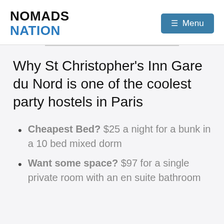NOMADS NATION
Why St Christopher's Inn Gare du Nord is one of the coolest party hostels in Paris
Cheapest Bed? $25 a night for a bunk in a 10 bed mixed dorm
Want some space? $97 for a single private room with an en suite bathroom